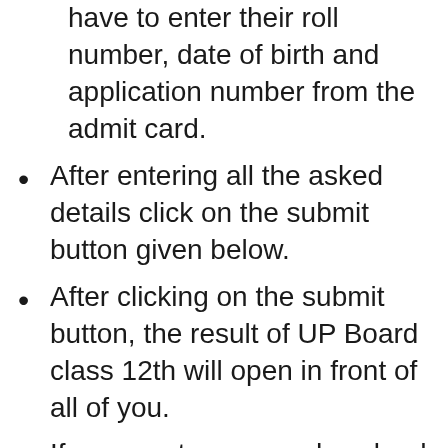have to enter their roll number, date of birth and application number from the admit card.
After entering all the asked details click on the submit button given below.
After clicking on the submit button, the result of UP Board class 12th will open in front of all of you.
If you want, you can download this result from the download function given below or you can also take a print out of it for future use